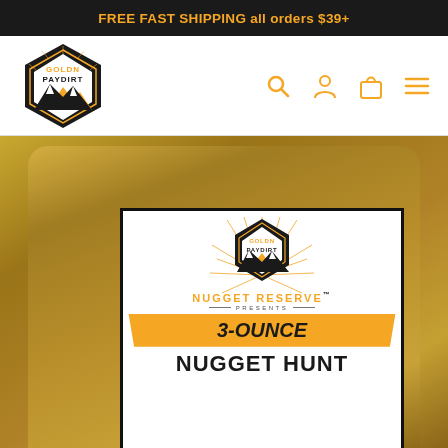FREE FAST SHIPPING all orders $39+
[Figure (logo): Goldn Paydirt hexagonal logo with mountains and sun rays, navigation bar with search, account, cart, and menu icons]
[Figure (photo): A clear plastic bag filled with sandy dirt/paydirt. On the bag is a white label featuring the Goldn Paydirt logo with sunburst rays, text reading NUGGET RESERVE PRESENTS 3-OUNCE NUGGET HUNT in orange and black.]